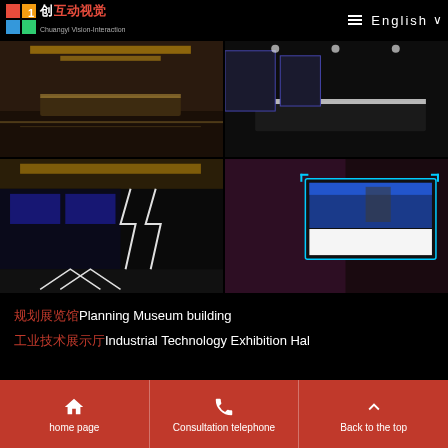[Figure (logo): Chuangyi Vision-Interaction company logo with colorful icon and Chinese/English text]
[Figure (photo): Interior exhibition hall with golden ceiling and dark marble floor]
[Figure (photo): Modern white reception desk in an exhibition hall with illuminated displays]
[Figure (photo): Wide exhibition corridor with large LED display walls and chevron floor lighting]
[Figure (photo): Interactive display kiosk showing a person on a large screen with glowing frame]
规划展览馆Planning Museum building
工业技术展示厅Industrial Technology Exhibition Hal
home page | Consultation telephone | Back to the top